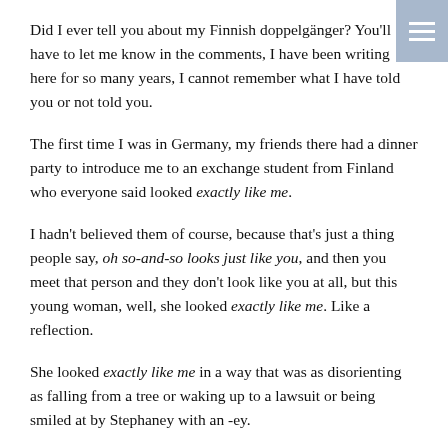Did I ever tell you about my Finnish doppelgänger? You'll have to let me know in the comments, I have been writing here for so many years, I cannot remember what I have told you or not told you.
The first time I was in Germany, my friends there had a dinner party to introduce me to an exchange student from Finland who everyone said looked exactly like me.
I hadn't believed them of course, because that's just a thing people say, oh so-and-so looks just like you, and then you meet that person and they don't look like you at all, but this young woman, well, she looked exactly like me. Like a reflection.
She looked exactly like me in a way that was as disorienting as falling from a tree or waking up to a lawsuit or being smiled at by Stephaney with an -ey.